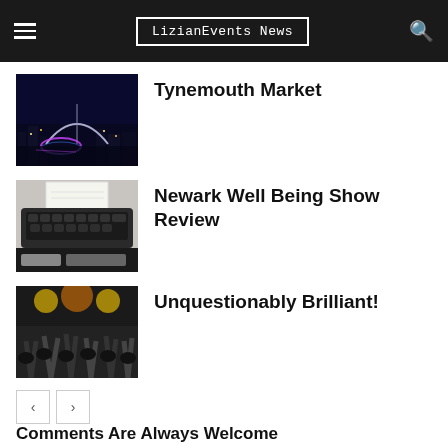LizianEvents News
[Figure (photo): Night cityscape with illuminated bridge reflected in water]
Tynemouth Market
[Figure (photo): Vintage typewriter with paper inserted, black keys visible]
Newark Well Being Show Review
[Figure (photo): Concert crowd with raised hands and stage lighting]
Unquestionably Brilliant!
< >
Comments Are Always Welcome